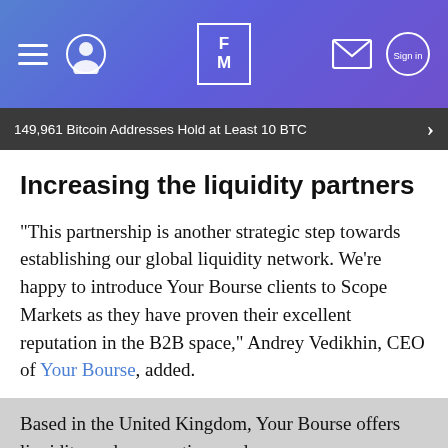FM — Finance Magnates header navigation bar
149,961 Bitcoin Addresses Hold at Least 10 BTC
Increasing the liquidity partners
"This partnership is another strategic step towards establishing our global liquidity network. We're happy to introduce Your Bourse clients to Scope Markets as they have proven their excellent reputation in the B2B space," Andrey Vedikhin, CEO of Your Bourse, added.
Based in the United Kingdom, Your Bourse offers liquidity, order execution, and